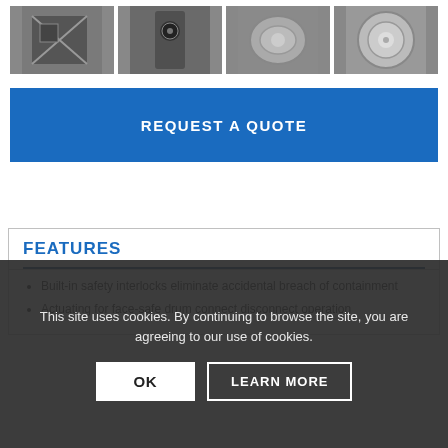[Figure (photo): Strip of four machinery/equipment close-up photos showing industrial drum or mixing equipment components]
REQUEST A QUOTE
FEATURES
Built-in safety interlocks eliminate accidental breach of containment
Actuating for face-safe drum connect disconnect operation
This site uses cookies. By continuing to browse the site, you are agreeing to our use of cookies.
OK
LEARN MORE